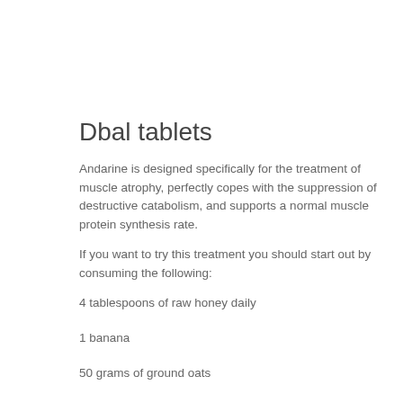Dbal tablets
Andarine is designed specifically for the treatment of muscle atrophy, perfectly copes with the suppression of destructive catabolism, and supports a normal muscle protein synthesis rate.
If you want to try this treatment you should start out by consuming the following:
4 tablespoons of raw honey daily
1 banana
50 grams of ground oats